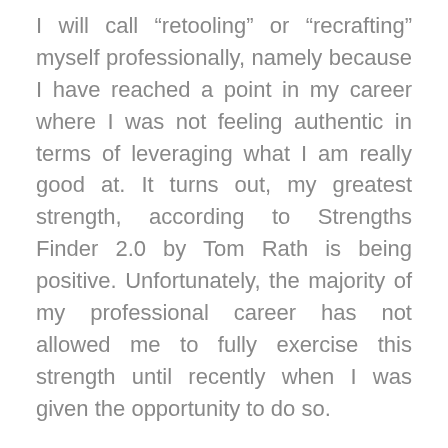I will call “retooling” or “recrafting” myself professionally, namely because I have reached a point in my career where I was not feeling authentic in terms of leveraging what I am really good at. It turns out, my greatest strength, according to Strengths Finder 2.0 by Tom Rath is being positive. Unfortunately, the majority of my professional career has not allowed me to fully exercise this strength until recently when I was given the opportunity to do so.
The opportunity to capitalize on my greatest strength presented itself at an